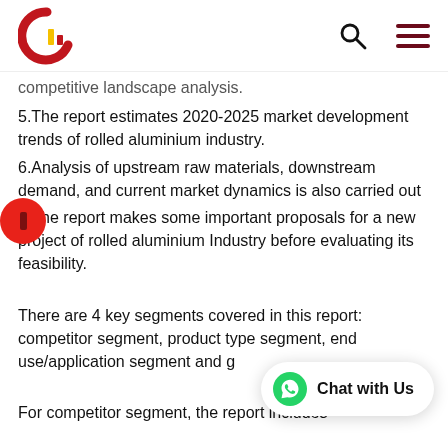[Logo] [Search icon] [Menu icon]
competitive landscape analysis.
5.The report estimates 2020-2025 market development trends of rolled aluminium industry.
6.Analysis of upstream raw materials, downstream demand, and current market dynamics is also carried out
7.The report makes some important proposals for a new project of rolled aluminium Industry before evaluating its feasibility.
There are 4 key segments covered in this report: competitor segment, product type segment, end use/application segment and g
For competitor segment, the report includes